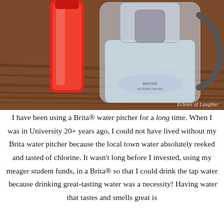[Figure (photo): A red water bottle on the left and a Brita water filter pitcher on the right, both sitting on a wooden table surface. The pitcher is transparent showing water inside with a gray filter. Watermark reads 'Echoes of Laughter' in the bottom right corner.]
I have been using a Brita® water pitcher for a long time. When I was in University 20+ years ago, I could not have lived without my Brita water pitcher because the local town water absolutely reeked and tasted of chlorine. It wasn't long before I invested, using my meager student funds, in a Brita® so that I could drink the tap water  because drinking great-tasting water was a necessity! Having water that tastes and smells great is